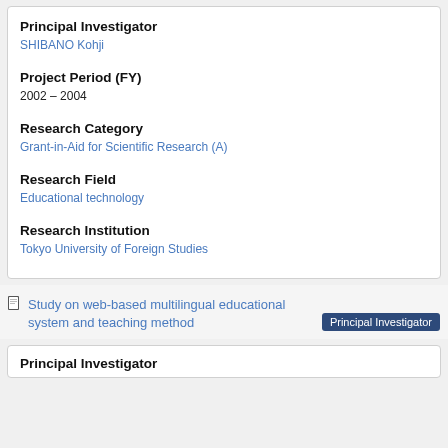Principal Investigator
SHIBANO Kohji
Project Period (FY)
2002 – 2004
Research Category
Grant-in-Aid for Scientific Research (A)
Research Field
Educational technology
Research Institution
Tokyo University of Foreign Studies
Study on web-based multilingual educational system and teaching method
Principal Investigator